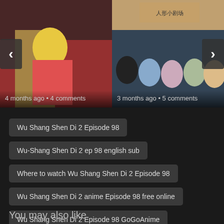[Figure (screenshot): Left anime card showing a blonde character with a knife, overlaid with nav arrow and timestamp '4 months ago • 4 comments']
[Figure (screenshot): Right anime card showing chibi characters with Chinese text header, overlaid with nav arrow and timestamp '3 months ago • 5 comments']
Wu Shang Shen Di 2 Episode 98
Wu-Shang Shen Di 2 ep 98 english sub
Where to watch Wu Shang Shen Di 2 Episode 98
Wu Shang Shen Di 2 anime Episode 98 free online
Wu Shang Shen Di 2 Episode 98 GoGoAnime
You may also like